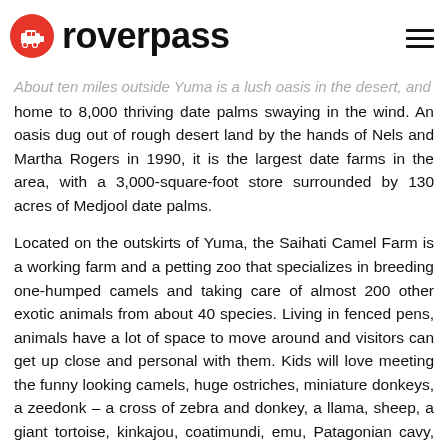roverpass
About ten miles outside Yuma is a lush oasis in the desert, and home to 8,000 thriving date palms swaying in the wind. An oasis dug out of rough desert land by the hands of Nels and Martha Rogers in 1990, it is the largest date farms in the area, with a 3,000-square-foot store surrounded by 130 acres of Medjool date palms.
Located on the outskirts of Yuma, the Saihati Camel Farm is a working farm and a petting zoo that specializes in breeding one-humped camels and taking care of almost 200 other exotic animals from about 40 species. Living in fenced pens, animals have a lot of space to move around and visitors can get up close and personal with them. Kids will love meeting the funny looking camels, huge ostriches, miniature donkeys, a zeedonk – a cross of zebra and donkey, a llama, sheep, a giant tortoise, kinkajou, coatimundi, emu, Patagonian cavy, water buffalo, hedgehog and wallaroo.
The Yuma Proving Ground Heritage Center was established to pay tribute to the United States military history of Yuma Proving Ground, and showcases events ranging from 1942 to present day.